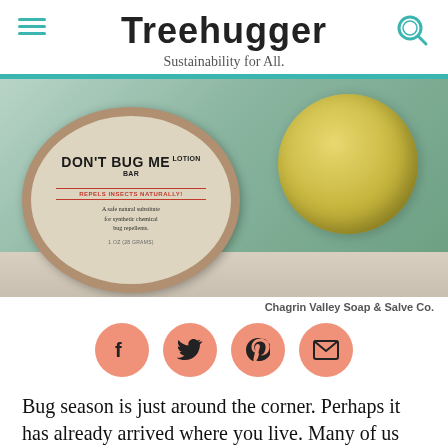Treehugger — Sustainability for All.
[Figure (photo): Product photo showing a Don't Bug Me Lotion Bar tin with label and a round yellow soap bar on a wooden surface with green background.]
Chagrin Valley Soap & Salve Co.
[Figure (infographic): Social share buttons: Facebook, Twitter, Pinterest, Email]
Bug season is just around the corner. Perhaps it has already arrived where you live. Many of us will be